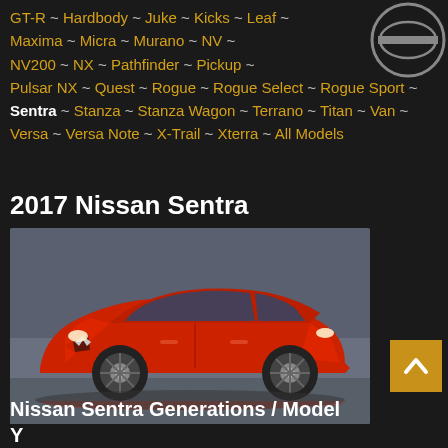GT-R ~ Hardbody ~ Juke ~ Kicks ~ Leaf ~ Maxima ~ Micra ~ Murano ~ NV ~ NV200 ~ NX ~ Pathfinder ~ Pickup ~ Pulsar NX ~ Quest ~ Rogue ~ Rogue Select ~ Rogue Sport ~ Sentra ~ Stanza ~ Stanza Wagon ~ Terrano ~ Titan ~ Van ~ Versa ~ Versa Note ~ X-Trail ~ Xterra ~ All Models
2017 Nissan Sentra
[Figure (photo): Red 2017 Nissan Sentra sedan parked on a wet surface with a blurred background showing an airfield or industrial area]
Nissan Sentra Generations / Model